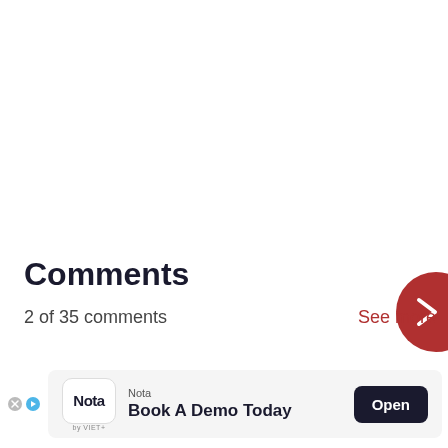[Figure (other): Partially visible red circular navigation button with a right chevron (>) icon, positioned at the right edge of the page]
Comments
2 of 35 comments
See more
[Figure (other): Advertisement banner for Nota: 'Book A Demo Today' with an Open button]